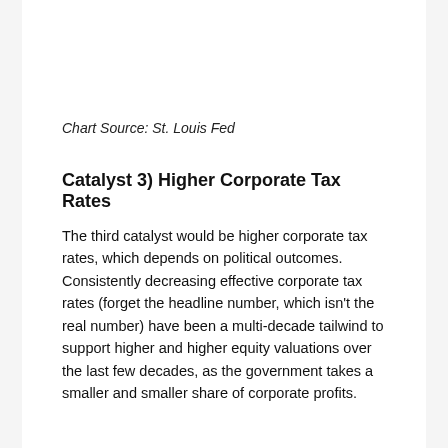[Figure (continuous-plot): Partial view of a time-series chart with blue and red lines plotted over years approximately 1985–2025, with y-axis values around 0.2–0.4 on the left and 2.0–2.5 on the right. Source label reads: Sources: BEA, Board of Governors, Wilshire.]
Chart Source: St. Louis Fed
Catalyst 3) Higher Corporate Tax Rates
The third catalyst would be higher corporate tax rates, which depends on political outcomes. Consistently decreasing effective corporate tax rates (forget the headline number, which isn't the real number) have been a multi-decade tailwind to support higher and higher equity valuations over the last few decades, as the government takes a smaller and smaller share of corporate profits.